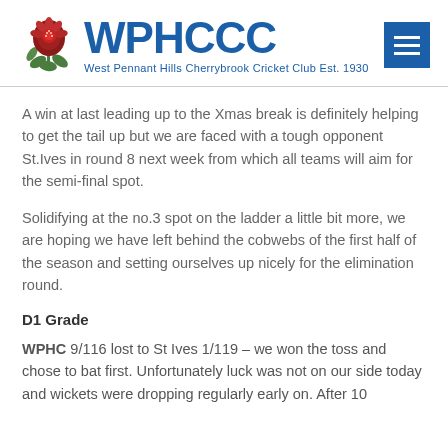WPHCCC — West Pennant Hills Cherrybrook Cricket Club Est. 1930
A win at last leading up to the Xmas break is definitely helping to get the tail up but we are faced with a tough opponent St.Ives in round 8 next week from which all teams will aim for the semi-final spot.
Solidifying at the no.3 spot on the ladder a little bit more, we are hoping we have left behind the cobwebs of the first half of the season and setting ourselves up nicely for the elimination round.
D1 Grade
WPHC 9/116 lost to St Ives 1/119 – we won the toss and chose to bat first. Unfortunately luck was not on our side today and wickets were dropping regularly early on. After 10...